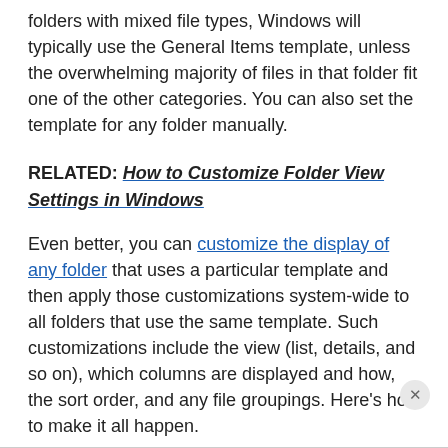folders with mixed file types, Windows will typically use the General Items template, unless the overwhelming majority of files in that folder fit one of the other categories. You can also set the template for any folder manually.
RELATED: How to Customize Folder View Settings in Windows
Even better, you can customize the display of any folder that uses a particular template and then apply those customizations system-wide to all folders that use the same template. Such customizations include the view (list, details, and so on), which columns are displayed and how, the sort order, and any file groupings. Here's how to make it all happen.